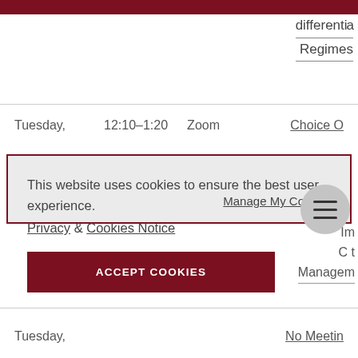differential Regimes
Tuesday,   12:10–1:20   Zoom   Choice O
This website uses cookies to ensure the best user experience.
Privacy & Cookies Notice
ACCEPT COOKIES
Manage My Cookies
[Figure (other): Hamburger menu icon in a grey circle]
Im... C... t Managern
Tuesday,   No Meetin